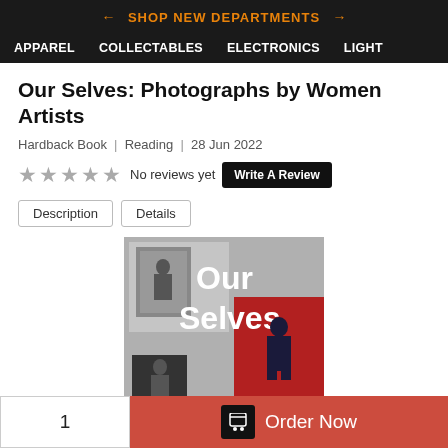← SHOP NEW DEPARTMENTS →
APPAREL   COLLECTABLES   ELECTRONICS   LIGHT
Our Selves: Photographs by Women Artists
Hardback Book | Reading | 28 Jun 2022
★★★★★ No reviews yet  Write A Review
Description   Details
[Figure (photo): Book cover of 'Our Selves: Photographs by Women Artists' — grey and red background with large white text 'Our Selves' and photographs of people]
1   Order Now